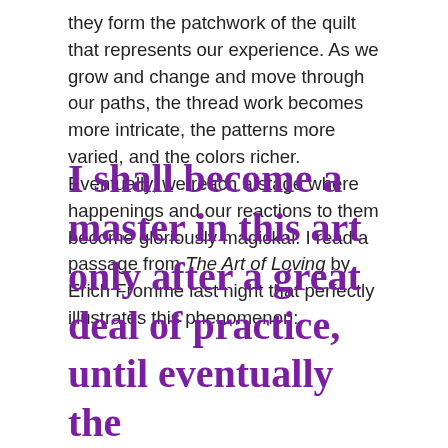they form the patchwork of the quilt that represents our experience. As we grow and change and move through our paths, the thread work becomes more intricate, the patterns more varied, and the colors richer. Eventually, we reach a stage where happenings and our reactions to them become gloriously magickal. I read a passage from The Art of Loving by Erich Fromme last night that perfectly illustrates this phenomenon:
I shall become a master in this art only after a great deal of practice, until eventually the